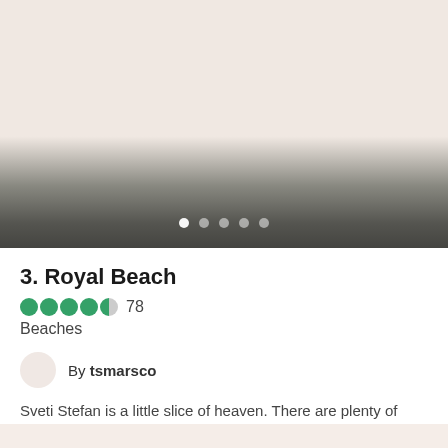[Figure (photo): Top portion showing a faded image area transitioning to dark gray, with carousel navigation dots at the bottom]
3. Royal Beach
78 — rating bubbles (4.5 out of 5) — Beaches
By tsmarsco
Sveti Stefan is a little slice of heaven. There are plenty of hotels with awesome views of the gorgeous monastery...